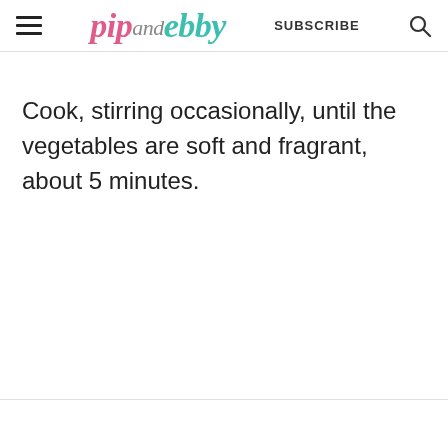pip and ebby | SUBSCRIBE
Cook, stirring occasionally, until the vegetables are soft and fragrant, about 5 minutes.